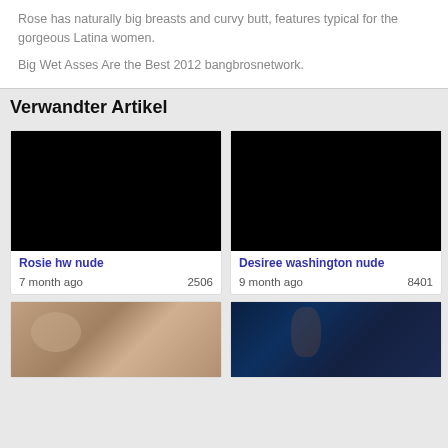Rose has naturally big breasts and curvy butt, features typical for the gorgeous Latina women.
Big Wet Asses Are the Best 2012 bangbrosnetwork.
Verwandter Artikel
[Figure (photo): Black thumbnail image for article 'Rosie hw nude']
Rosie hw nude
7 month ago   2506
[Figure (photo): Black thumbnail image for article 'Desiree washington nude']
Desiree washington nude
9 month ago   8401
[Figure (photo): Thumbnail showing adult content scene]
[Figure (photo): Thumbnail showing underwater scene with female figure]